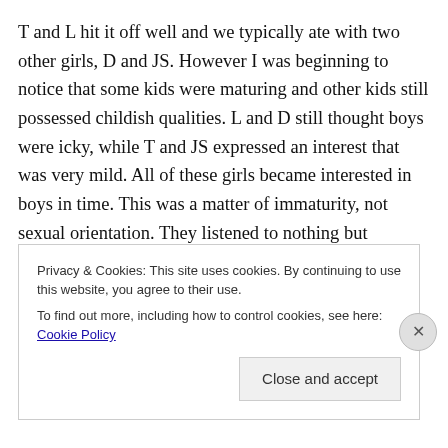T and L hit it off well and we typically ate with two other girls, D and JS. However I was beginning to notice that some kids were maturing and other kids still possessed childish qualities. L and D still thought boys were icky, while T and JS expressed an interest that was very mild. All of these girls became interested in boys in time. This was a matter of immaturity, not sexual orientation. They listened to nothing but Beatles, a band that had broken up years before. They were easily intimidated by the “bad” kids
Privacy & Cookies: This site uses cookies. By continuing to use this website, you agree to their use.
To find out more, including how to control cookies, see here: Cookie Policy
Close and accept